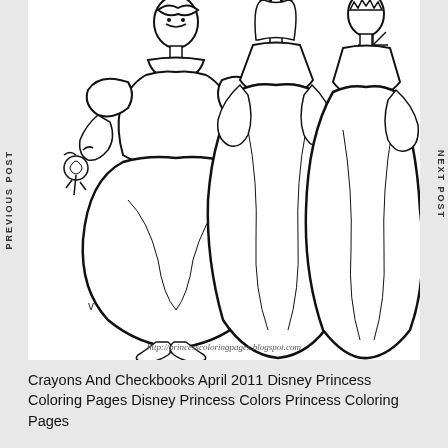[Figure (illustration): Disney Princess coloring page showing Snow White holding a rose on the left, and two other princesses (Belle and Aurora/Sleeping Beauty) to the right, with decorative star/sparkle shapes scattered around. The image is black and white line art. A small watermark reads: http://princesscoloringpages.blogspot.com]
PREVIOUS POST
NEXT POST
Crayons And Checkbooks April 2011 Disney Princess Coloring Pages Disney Princess Colors Princess Coloring Pages